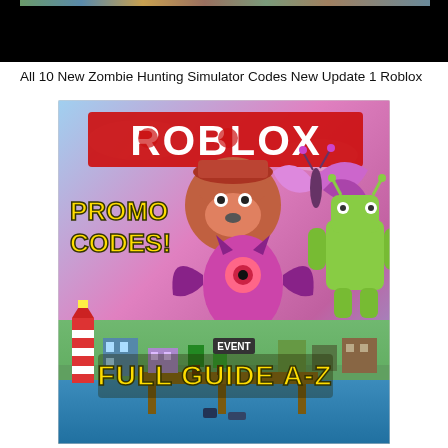[Figure (screenshot): Black video thumbnail bar at top of page, with a thin colorful image strip visible at the very top edge]
All 10 New Zombie Hunting Simulator Codes New Update 1 Roblox
[Figure (illustration): Roblox promotional image showing 'ROBLOX' text in red at top, 'PROMO CODES!' in yellow on left side, 'FULL GUIDE A-Z' in yellow at bottom center, with cartoon characters including a bear face, bat creature, butterfly creature, Android robot, and a blocky city scene with lighthouse and waterfront. Colorful gradient background with pink/purple/blue tones.]